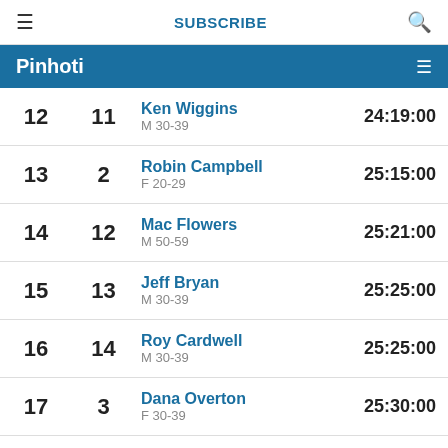≡   SUBSCRIBE   🔍
Pinhoti
| Overall | Cat | Name / Category | Time |
| --- | --- | --- | --- |
| 12 | 11 | Ken Wiggins
M 30-39 | 24:19:00 |
| 13 | 2 | Robin Campbell
F 20-29 | 25:15:00 |
| 14 | 12 | Mac Flowers
M 50-59 | 25:21:00 |
| 15 | 13 | Jeff Bryan
M 30-39 | 25:25:00 |
| 16 | 14 | Roy Cardwell
M 30-39 | 25:25:00 |
| 17 | 3 | Dana Overton
F 30-39 | 25:30:00 |